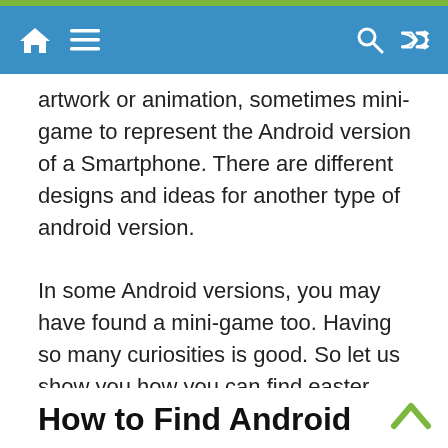Navigation bar with home, menu, search, and shuffle icons
artwork or animation, sometimes mini-game to represent the Android version of a Smartphone. There are different designs and ideas for another type of android version.
In some Android versions, you may have found a mini-game too. Having so many curiosities is good. So let us show you how you can find easter eggs on your android smartphone and how you can handle that.
How to Find Android